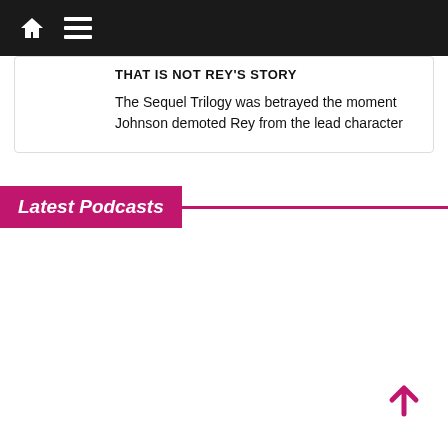Navigation bar with home icon and menu icon
THAT IS NOT REY'S STORY
The Sequel Trilogy was betrayed the moment Johnson demoted Rey from the lead character
Latest Podcasts